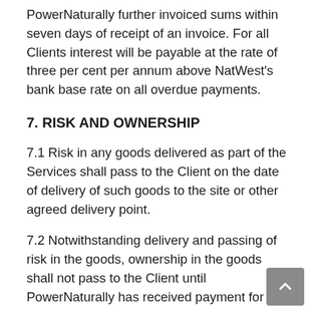PowerNaturally further invoiced sums within seven days of receipt of an invoice. For all Clients interest will be payable at the rate of three per cent per annum above NatWest's bank base rate on all overdue payments.
7. RISK AND OWNERSHIP
7.1 Risk in any goods delivered as part of the Services shall pass to the Client on the date of delivery of such goods to the site or other agreed delivery point.
7.2 Notwithstanding delivery and passing of risk in the goods, ownership in the goods shall not pass to the Client until PowerNaturally has received payment for